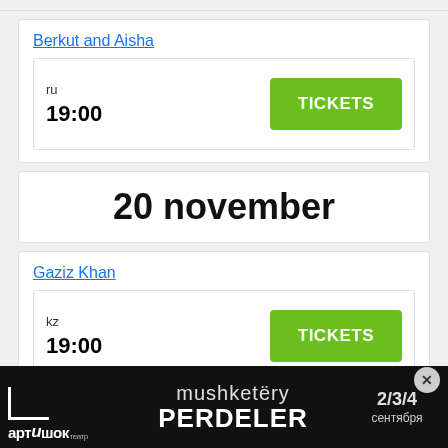Berkut and Aisha
ru
19:00
TICKETS
20 november
Gaziz Khan
kz
19:00
TICKETS
[Figure (photo): Advertisement banner for Teatr Artishok: mushketëry PERDELER 2/3/4 сентября, with close button]